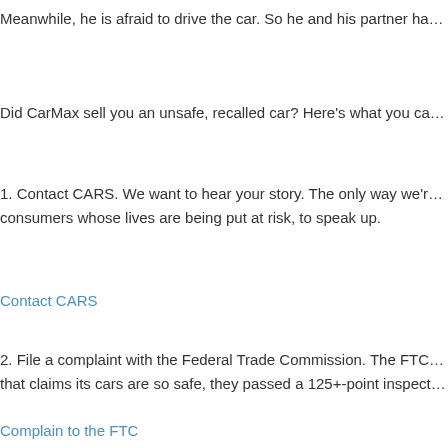Meanwhile, he is afraid to drive the car. So he and his partner ha…
Did CarMax sell you an unsafe, recalled car? Here's what you ca…
1. Contact CARS. We want to hear your story. The only way we'r… consumers whose lives are being put at risk, to speak up.
Contact CARS
2. File a complaint with the Federal Trade Commission. The FTC… that claims its cars are so safe, they passed a 125+-point inspect…
Complain to the FTC
Posted in Auto realiity check, Auto safety tips, Car Buyers: Bewar… safety, auto safety recall, auto safety recalls, car recall, car safety… recall car, recalled cars, recalls, safe car, safe cars, safety recalls…